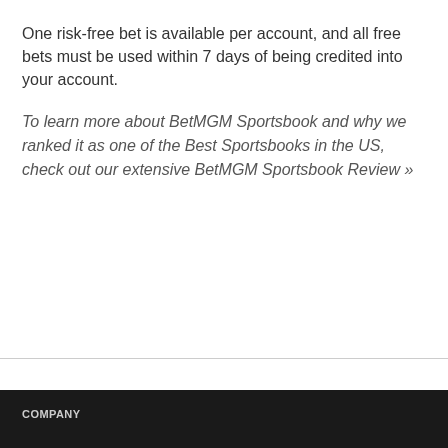One risk-free bet is available per account, and all free bets must be used within 7 days of being credited into your account.
To learn more about BetMGM Sportsbook and why we ranked it as one of the Best Sportsbooks in the US, check out our extensive BetMGM Sportsbook Review »
COMPANY